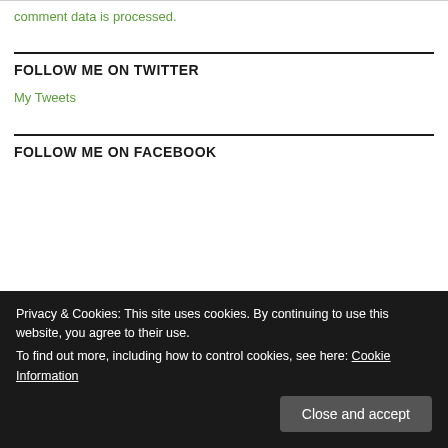comment data is processed.
FOLLOW ME ON TWITTER
My Tweets
FOLLOW ME ON FACEBOOK
Privacy & Cookies: This site uses cookies. By continuing to use this website, you agree to their use. To find out more, including how to control cookies, see here: Cookie Information
Close and accept